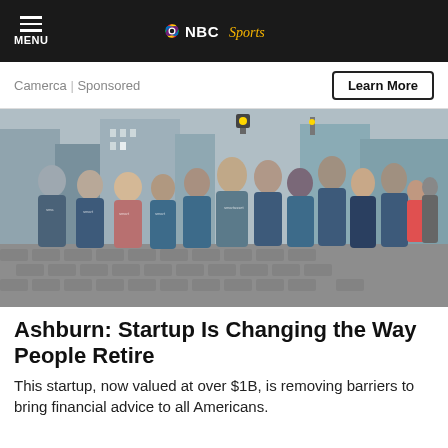NBC Sports
Camerca | Sponsored
[Figure (photo): Group of startup employees wearing SmartAsset branded t-shirts standing on a cobblestone street in New York City]
Ashburn: Startup Is Changing the Way People Retire
This startup, now valued at over $1B, is removing barriers to bring financial advice to all Americans.